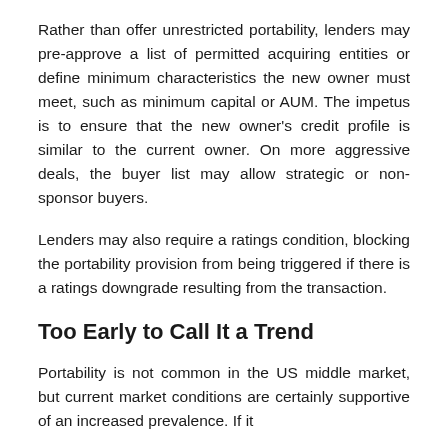Rather than offer unrestricted portability, lenders may pre-approve a list of permitted acquiring entities or define minimum characteristics the new owner must meet, such as minimum capital or AUM. The impetus is to ensure that the new owner's credit profile is similar to the current owner. On more aggressive deals, the buyer list may allow strategic or non-sponsor buyers.
Lenders may also require a ratings condition, blocking the portability provision from being triggered if there is a ratings downgrade resulting from the transaction.
Too Early to Call It a Trend
Portability is not common in the US middle market, but current market conditions are certainly supportive of an increased prevalence. If it